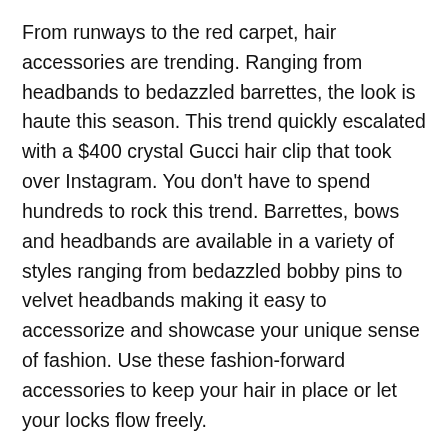From runways to the red carpet, hair accessories are trending. Ranging from headbands to bedazzled barrettes, the look is haute this season. This trend quickly escalated with a $400 crystal Gucci hair clip that took over Instagram. You don't have to spend hundreds to rock this trend. Barrettes, bows and headbands are available in a variety of styles ranging from bedazzled bobby pins to velvet headbands making it easy to accessorize and showcase your unique sense of fashion. Use these fashion-forward accessories to keep your hair in place or let your locks flow freely.
Say Hello to the New Braids